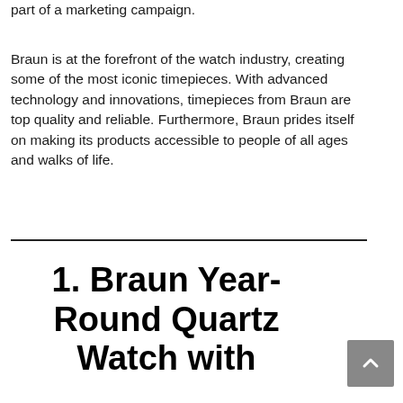part of a marketing campaign.
Braun is at the forefront of the watch industry, creating some of the most iconic timepieces. With advanced technology and innovations, timepieces from Braun are top quality and reliable. Furthermore, Braun prides itself on making its products accessible to people of all ages and walks of life.
1. Braun Year-Round Quartz Watch with